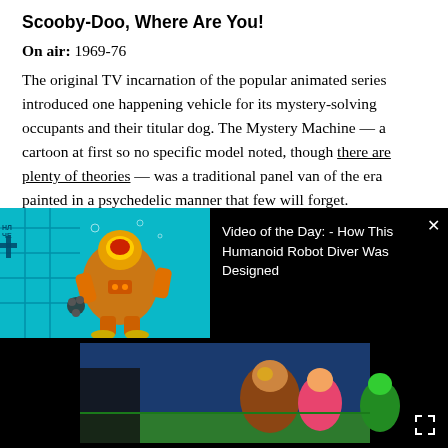Scooby-Doo, Where Are You!
On air: 1969-76
The original TV incarnation of the popular animated series introduced one happening vehicle for its mystery-solving occupants and their titular dog. The Mystery Machine — a cartoon at first so no specific model noted, though there are plenty of theories — was a traditional panel van of the era painted in a psychedelic manner that few will forget.
Related: The Coolest VW Vans Through the Decades
[Figure (screenshot): Video overlay popup showing a humanoid robot diver underwater with teal/cyan pool background, orange robot suit. Text reads: Video of the Day: - How This Humanoid Robot Diver Was Designed. Close (x) button in upper right.]
[Figure (screenshot): Bottom black strip showing partial cartoon image with colorful animated characters on dark background, fullscreen icon bottom right.]